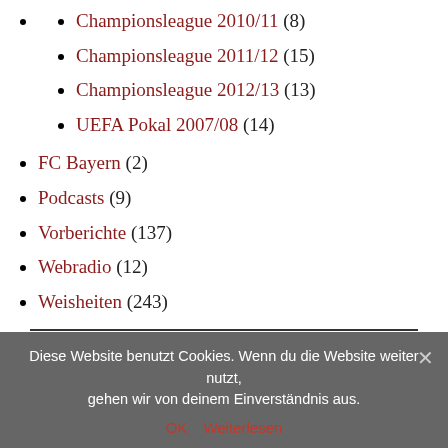Championsleague 2010/11 (8)
Championsleague 2011/12 (15)
Championsleague 2012/13 (13)
UEFA Pokal 2007/08 (14)
FC Bayern (2)
Podcasts (9)
Vorberichte (137)
Webradio (12)
Weisheiten (243)
Diese Website benutzt Cookies. Wenn du die Website weiter nutzt, gehen wir von deinem Einverständnis aus.
OK  Weiterlesen